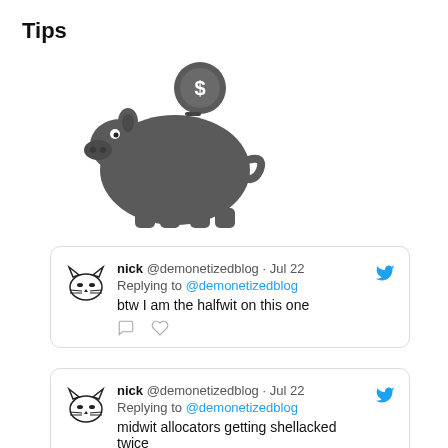Tips
[Figure (illustration): Piggy bank icon with a dollar coin above the slot, dark grey/charcoal color]
[Figure (illustration): Donate with PayPal button - orange/yellow gradient button with 'Donate with PayPal' text]
nick @demonetizedblog · Jul 22
Replying to @demonetizedblog
btw I am the halfwit on this one
nick @demonetizedblog · Jul 22
Replying to @demonetizedblog
midwit allocators getting shellacked twice